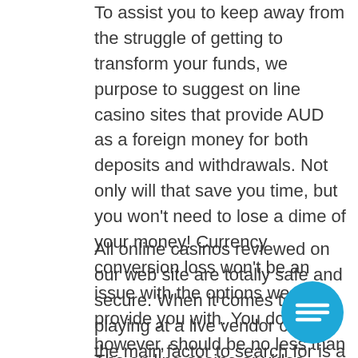To assist you to keep away from the struggle of getting to transform your funds, we purpose to suggest on line casino sites that provide AUD as a foreign money for both deposits and withdrawals. Not only will that save you time, but you won't need to lose a dime of your money! Currency conversion loss won't be an issue with the options we provide you with. You do, however, should be no less than 18 years of age to play Australian online casinos for real cash.
All online casinos reviewed on our web site are totally safe and secure. When it comes to playing at a live vendor casino the main factor to search for is a high quality software program developer.
The on line casino or video games do not take up any space in your exhausting drive